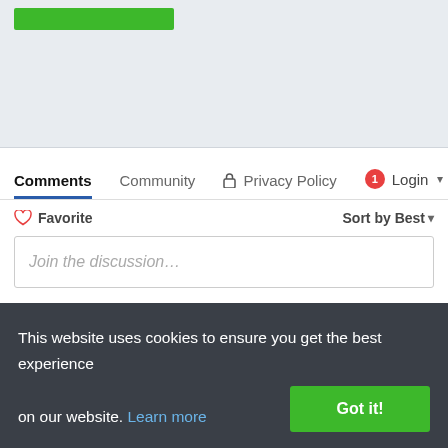[Figure (screenshot): Green button bar in gray top panel area]
Comments  Community  🔒 Privacy Policy  🔴1  Login ▾
♡ Favorite    Sort by Best ▾
Join the discussion…
LOG IN WITH
OR SIGN UP WITH DISQUS ?
Name
This website uses cookies to ensure you get the best experience on our website. Learn more
Got it!